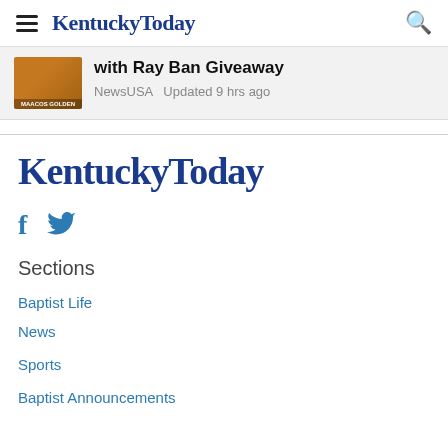KentuckyToday
with Ray Ban Giveaway
NewsUSA  Updated 9 hrs ago
[Figure (logo): KentuckyToday logo — large bold blue serif text]
[Figure (illustration): Social media icons: Facebook (f) and Twitter (bird) in blue]
Sections
Baptist Life
News
Sports
Baptist Announcements